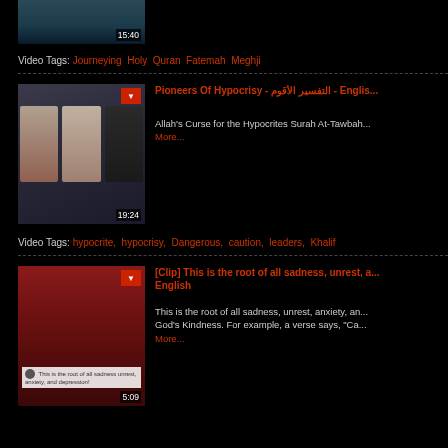[Figure (screenshot): Partial video thumbnail showing duration 15:40]
Video Tags: Journeying  Holy  Quran  Fatemah  Meghji
[Figure (screenshot): Video thumbnail showing three faces, duration 19:24]
Pioneers Of Hypocrisy - التفسير الأقوم - English
Allah's Curse for the Hypocrites Surah At-Tawbah More...
Video Tags: hypocrite,  hypocrisy,  Dangerous,  caution,  leaders,  Khalif
[Figure (screenshot): Video thumbnail with red background and text overlay 'This is the root of all sadness unrest, anxiety, and depression!', duration 5:09]
[Clip] This is the root of all sadness, unrest, a... English
This is the root of all sadness, unrest, anxiety, an... God's Kindness. For example, a verse says, "Ca... More...